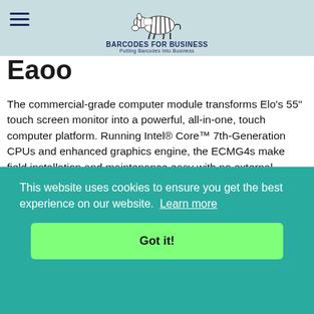BARCODES FOR BUSINESS - Putting Barcodes Into Business
Eaoo
The commercial-grade computer module transforms Elo's 55" touch screen monitor into a powerful, all-in-one, touch computer platform. Running Intel® Core™ 7th-Generation CPUs and enhanced graphics engine, the ECMG4s make field installation and maintenance easy with no external cables required.
[Figure (photo): Product photo of Elo ECMG4 computer module device, gray hardware component shown from above]
This website uses cookies to ensure you get the best experience on our website. Learn more
Got it!